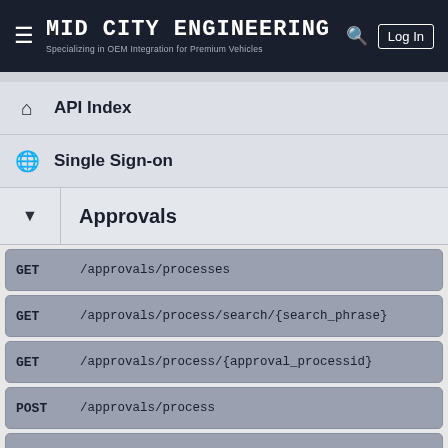Mid City Engineering — Specializing in OEM Integration for Premium Vehicles | Log In
API Index
Single Sign-on
Approvals
GET   /approvals/processes
GET   /approvals/process/search/{search_phrase}
GET   /approvals/process/{approval_processid}
POST  /approvals/process
PATCH /approvals/process/{approval_processid}
PUT   /approvals/{wikiid}/{approval_processid}